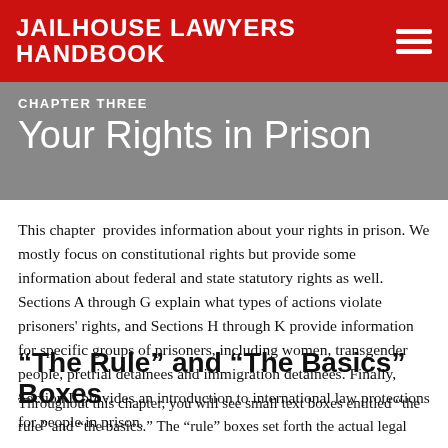JAILHOUSE LAWYERS HANDBOOK
CHAPTER THREE
Your Rights in Prison
This chapter provides information about your rights in prison. We mostly focus on constitutional rights but provide some information about federal and state statutory rights as well. Sections A through G explain what types of actions violate prisoners' rights, and Sections H through K provide information for specific groups of prisoners, including women, transgender people, pretrial detainees and immigration detainees. Finally, Section L provides an introduction to international law protections for people in prison.
“The Rule” and “The Basics” Boxes
Throughout this chapter, you will see small text boxes entitled “the rule” and “the basics.” The “rule” boxes set forth the actual legal